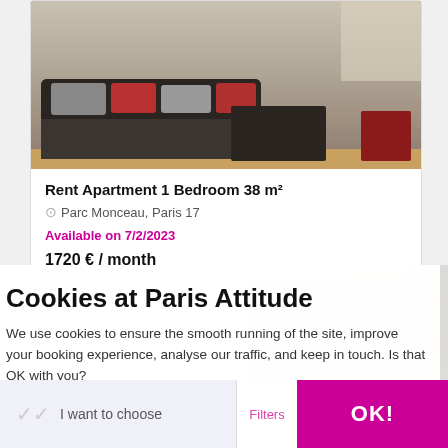[Figure (photo): Living room photo showing a dark sofa with red and grey cushions, a glass coffee table, and a red cube seat]
Rent Apartment 1 Bedroom 38 m²
Parc Monceau, Paris 17
Available on 7/2/2023
1720 € / month
Cookies at Paris Attitude
We use cookies to ensure the smooth running of the site, improve your booking experience, analyse our traffic, and keep in touch. Is that OK with you?
We respect your privacy, here's how.
Consents certified by axeptio
I want to choose
Filters
OK!